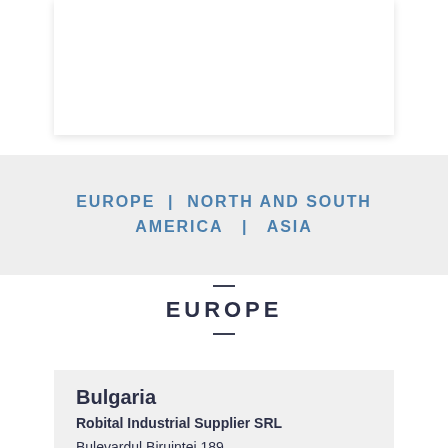EUROPE | NORTH AND SOUTH AMERICA | ASIA
EUROPE
Bulgaria
Robital Industrial Supplier SRL
Bulevardul Biruintei 189